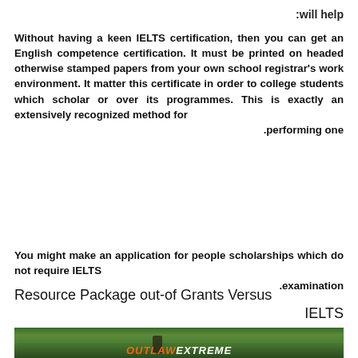:will help
Without having a keen IELTS certification, then you can get an English competence certification. It must be printed on headed otherwise stamped papers from your own school registrar's work environment. It matter this certificate in order to college students which scholar or over its programmes. This is exactly an extensively recognized method for performing one.
You might make an application for people scholarships which do not require IELTS examination.
Resource Package out-of Grants Versus IELTS
[Figure (photo): Outdoor/nature photo with a person and a vehicle, featuring the Outlaw Extreme logo/branding at the bottom]